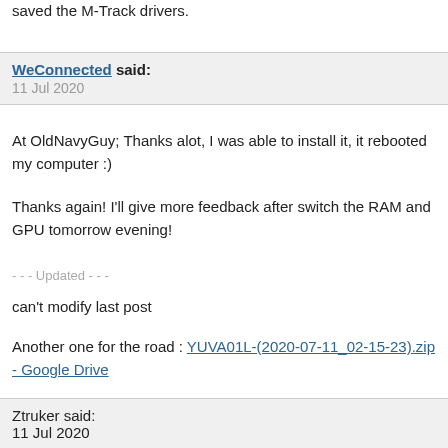saved the M-Track drivers.
WeConnected said:
11 Jul 2020
At OldNavyGuy; Thanks alot, I was able to install it, it rebooted my computer :)

Thanks again! I'll give more feedback after switch the RAM and GPU tomorrow evening!
- - - Updated - - -
can't modify last post
Another one for the road : YUVA01L-(2020-07-11_02-15-23).zip - Google Drive
Ztruker said:
11 Jul 2020